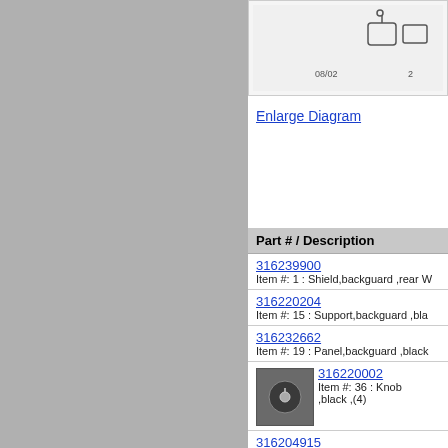[Figure (schematic): Partial diagram showing appliance backguard parts with item numbers, showing items labeled 08/02 and 2]
Enlarge Diagram
| Part # / Description |
| --- |
| 316239900 | Item #: 1 : Shield,backguard ,rear W |
| 316220204 | Item #: 15 : Support,backguard ,bla |
| 316232662 | Item #: 19 : Panel,backguard ,black |
| 316220002 | Item #: 36 : Knob ,black ,(4) |
| 316204915 | Item #: 40 : Panel,manifold ,black |
| 316236600 | Item #: 42 : Trim,extrusion ,black |
| 316230708 | Item #: 56 : Shield,backguard ,inne |